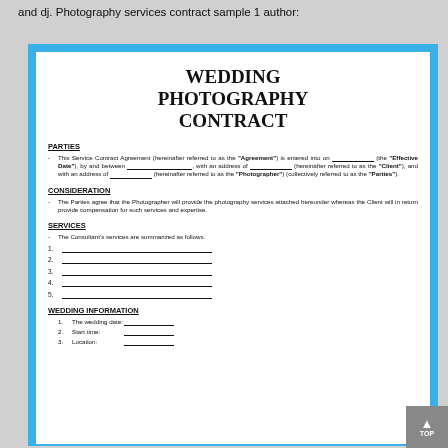and dj. Photography services contract sample 1 author:
[Figure (illustration): Screenshot of a Wedding Photography Contract document with blue border, showing sections: PARTIES, CONSIDERATION, SERVICES (with numbered blank lines 1-5), and WEDDING INFORMATION (with fields for wedding date, start time, location)]
WEDDING PHOTOGRAPHY CONTRACT
PARTIES
This Service Contract Agreement (hereinafter referred to as the "Agreement") is entered into on _____________ (the "Effective Date"), by and between _________________________, with an address of ________________ (hereinafter referred to as the "Client"), and with an address of _____________ (hereinafter referred to as the "Photographer") (collectively referred to as the "Parties").
CONSIDERATION
The Parties agree that the Photographer will provide the photography services attached hereunder whereas the Client will in return provide compensation for such services and expertise.
SERVICES
The Consultant's services are summarized as follows:
1.
2.
3.
4.
5.
WEDDING INFORMATION
1. The wedding date:
2. Start time:
3. Location: